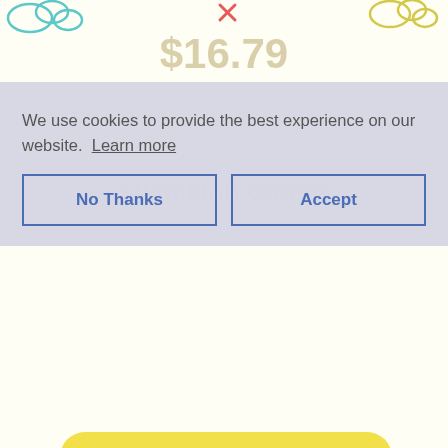[Figure (illustration): Colorful children's doodle background with clouds, suns, stars in pastel colors (teal, pink, yellow, peach)]
$16.79
10 million orders
We use cookies to provide the best experience on our website. Learn more
No Thanks
Accept
Add to Cart
Share:
Share
Tweet
Pin it
TOP